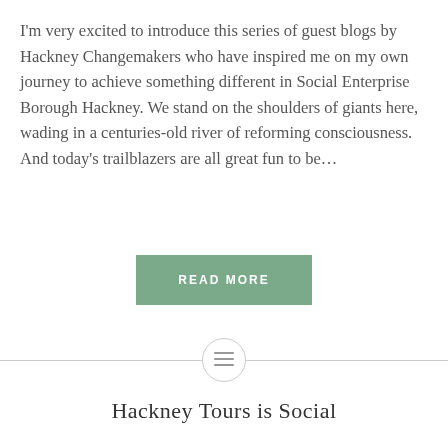I'm very excited to introduce this series of guest blogs by Hackney Changemakers who have inspired me on my own journey to achieve something different in Social Enterprise Borough Hackney. We stand on the shoulders of giants here, wading in a centuries-old river of reforming consciousness. And today's trailblazers are all great fun to be...
READ MORE
Hackney Tours is Social